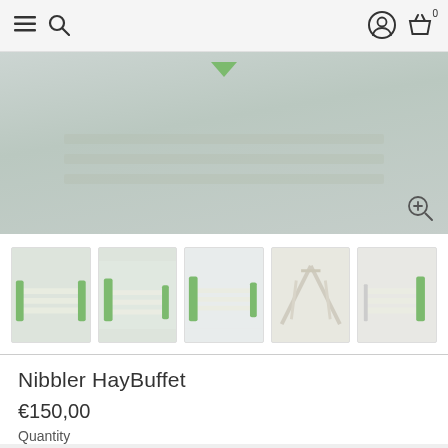☰ 🔍  [account icon] [basket icon] 0
[Figure (photo): Main product photo area showing Nibbler HayBuffet hay rack/buffet product with green and cream colored wooden slats, partially visible, with zoom icon in bottom right. Green arrow indicator at top center.]
[Figure (photo): Thumbnail 1: Nibbler HayBuffet angled view from front-left, green sides with cream wooden slats]
[Figure (photo): Thumbnail 2: Nibbler HayBuffet front-right angled view, green sides with cream wooden slats]
[Figure (photo): Thumbnail 3: Nibbler HayBuffet top angled view]
[Figure (photo): Thumbnail 4: Nibbler HayBuffet interior corridor view, cream/beige slats perspective]
[Figure (photo): Thumbnail 5: Nibbler HayBuffet side view, diagram/instructions visible]
Nibbler HayBuffet
€150,00
Quantity
— 1 +